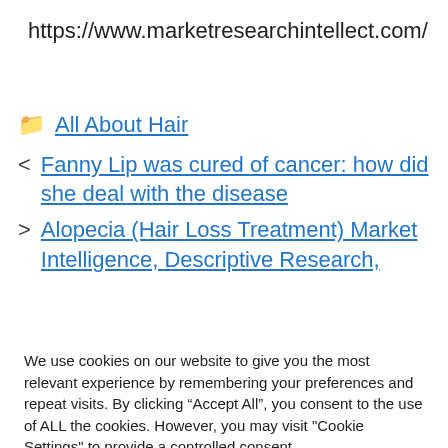https://www.marketresearchintellect.com/
All About Hair
Fanny Lip was cured of cancer: how did she deal with the disease
Alopecia (Hair Loss Treatment) Market Intelligence, Descriptive Research,
We use cookies on our website to give you the most relevant experience by remembering your preferences and repeat visits. By clicking “Accept All”, you consent to the use of ALL the cookies. However, you may visit "Cookie Settings" to provide a controlled consent.